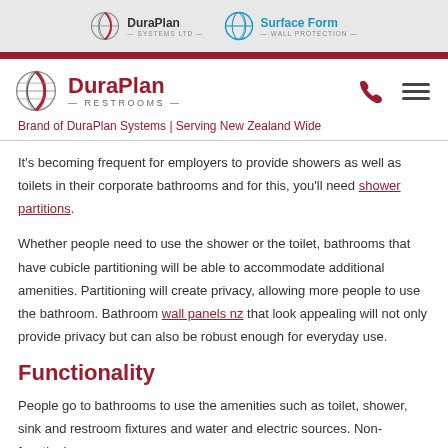DuraPlan Systems Ltd | Surface Form Wall Protection
[Figure (logo): DuraPlan Restrooms logo with globe icon, phone icon, and hamburger menu]
Brand of DuraPlan Systems | Serving New Zealand Wide
It's becoming frequent for employers to provide showers as well as toilets in their corporate bathrooms and for this, you'll need shower partitions.
Whether people need to use the shower or the toilet, bathrooms that have cubicle partitioning will be able to accommodate additional amenities. Partitioning will create privacy, allowing more people to use the bathroom. Bathroom wall panels nz that look appealing will not only provide privacy but can also be robust enough for everyday use.
Functionality
People go to bathrooms to use the amenities such as toilet, shower, sink and restroom fixtures and water and electric sources. Non-functioning